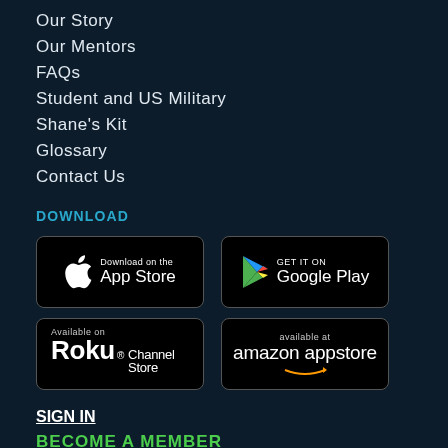Our Story
Our Mentors
FAQs
Student and US Military
Shane's Kit
Glossary
Contact Us
DOWNLOAD
[Figure (logo): Download on the App Store badge]
[Figure (logo): Get it on Google Play badge]
[Figure (logo): Available on Roku Channel Store badge]
[Figure (logo): Available at Amazon Appstore badge]
SIGN IN
BECOME A MEMBER